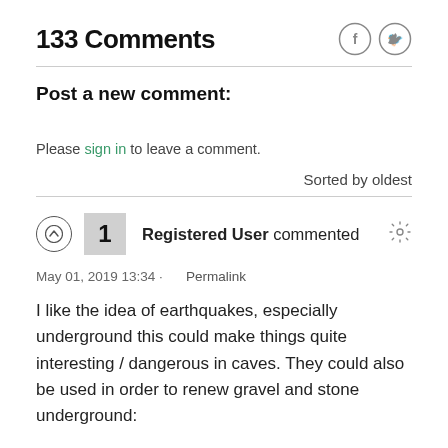133 Comments
Post a new comment:
Please sign in to leave a comment.
Sorted by oldest
Registered User commented
May 01, 2019 13:34 · Permalink
I like the idea of earthquakes, especially underground this could make things quite interesting / dangerous in caves. They could also be used in order to renew gravel and stone underground: